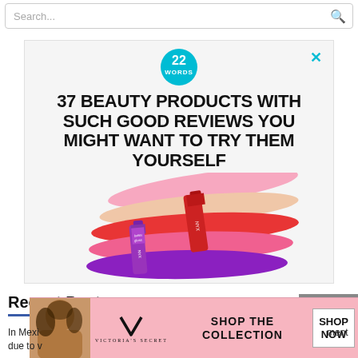[Figure (screenshot): Search bar at top of webpage]
[Figure (infographic): Advertisement for '22 Words' article: '37 BEAUTY PRODUCTS WITH SUCH GOOD REVIEWS YOU MIGHT WANT TO TRY THEM YOURSELF' with image of NYX lip products in pink, red, and purple shades]
Recent Posts
[Figure (infographic): Victoria's Secret advertisement banner: woman with curly hair, VS logo, 'SHOP THE COLLECTION', 'SHOP NOW' button, pink background. CLOSE button overlay.]
In Mexi... ment due to v...